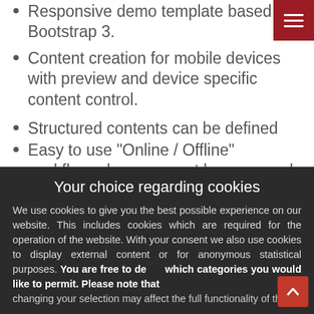Responsive demo template based on Bootstrap 3.
Content creation for mobile devices with preview and device specific content control.
Structured contents can be defined using a simple XML schema.
Easy to use "Online / Offline" workflow, changes must be approved before they become visible.
Link management for all internal resources with broken link detection
Your choice regarding cookies
We use cookies to give you the best possible experience on our website. This includes cookies which are required for the operation of the website. With your consent we also use cookies to display external content or for anonymous statistical purposes. You are free to decide which categories you would like to permit. Please note that depending on your settings, the full functionality of the